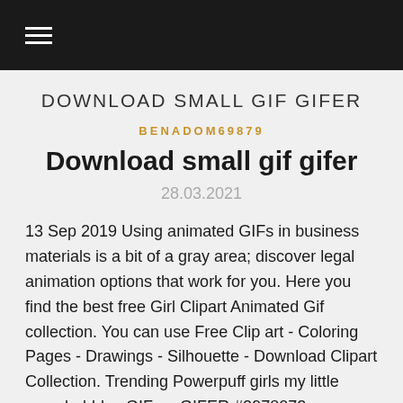☰
DOWNLOAD SMALL GIF GIFER
BENADOM69879
Download small gif gifer
28.03.2021
13 Sep 2019 Using animated GIFs in business materials is a bit of a gray area; discover legal animation options that work for you. Here you find the best free Girl Clipart Animated Gif collection. You can use Free Clip art - Coloring Pages - Drawings - Silhouette - Download Clipart Collection. Trending Powerpuff girls my little pony bubbles GIF on GIFER #2978072